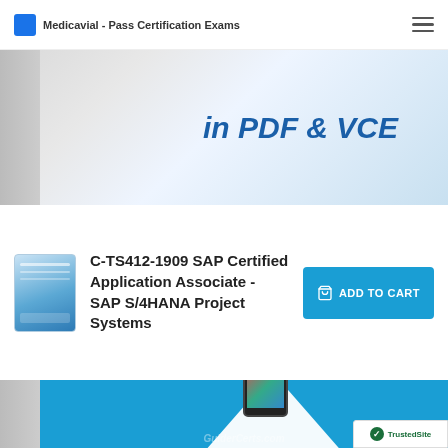Medicavial - Pass Certification Exams
[Figure (screenshot): Top banner showing 'in PDF & VCE' text in blue italic on a light background with a grey column on the left]
[Figure (photo): Small product book/guide cover image for C-TS412-1909 SAP exam guide]
C-TS412-1909 SAP Certified Application Associate - SAP S/4HANA Project Systems
[Figure (other): ADD TO CART button in teal/blue color]
[Figure (screenshot): Bottom banner in blue with white diamond shape, tablet device image and GuiderCerts.com logo text]
[Figure (logo): TrustedSite badge with green checkmark in bottom right corner]